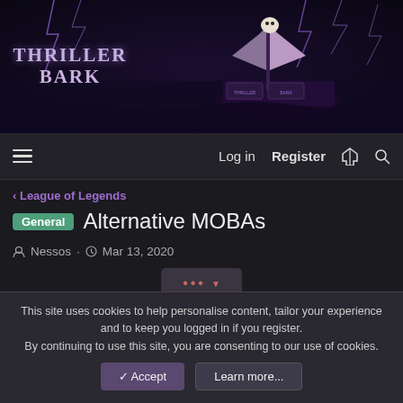[Figure (illustration): Thriller Bark dark fantasy banner with ship, lightning, and stormy sea. Text reads 'THRILLER BARK'.]
Log in  Register
< League of Legends
General  Alternative MOBAs
Nessos · Mar 13, 2020
[Figure (screenshot): Ellipsis button with dots and down arrow]
[Figure (photo): Post preview showing avatar and user Nessos with banner image]
This site uses cookies to help personalise content, tailor your experience and to keep you logged in if you register.
By continuing to use this site, you are consenting to our use of cookies.
✓ Accept    Learn more...